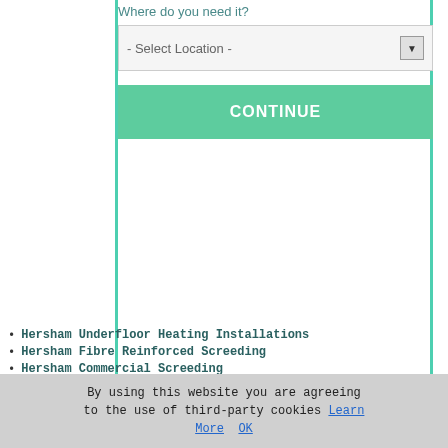Where do you need it?
- Select Location -
CONTINUE
Hersham Underfloor Heating Installations
Hersham Fibre Reinforced Screeding
Hersham Commercial Screeding
Hersham Floor Screeding
Hersham Cheap Screeding
Hersham Fast-Dry Screeding
Hersham Floor Damp Proofing
Hersham Domestic Screeding
Hersham Liquid Screeds
Hersham Floor Insulation
Hersham Screeding Services
Hersham Floor Levelling
Hersham Polished Screed Floors
Hersham Floor Screeding Advice
By using this website you are agreeing to the use of third-party cookies Learn More  OK